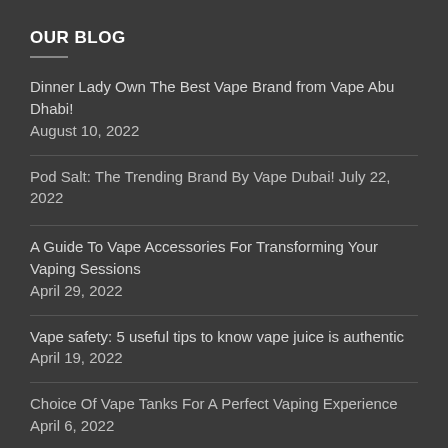OUR BLOG
Dinner Lady Own The Best Vape Brand from Vape Abu Dhabi!
August 10, 2022
Pod Salt: The Trending Brand By Vape Dubai! July 22, 2022
A Guide To Vape Accessories For Transforming Your Vaping Sessions
April 29, 2022
Vape safety: 5 useful tips to know vape juice is authentic
April 19, 2022
Choice Of Vape Tanks For A Perfect Vaping Experience April 6, 2022